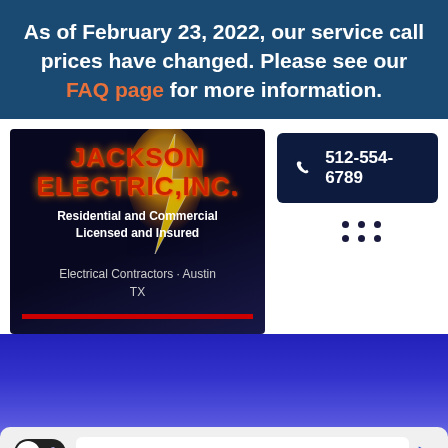As of February 23, 2022, our service call prices have changed. Please see our FAQ page for more information.
[Figure (logo): Jackson Electric, Inc. company logo card with dark blue background, lightning bolt graphic, red company name text, and location info 'Electrical Contractors · Austin TX']
512-554-6789
[Figure (screenshot): Bottom portion showing blue gradient background area and a bottom navigation bar with a dark toggle switch (moon icon) and a navigation arrow.]